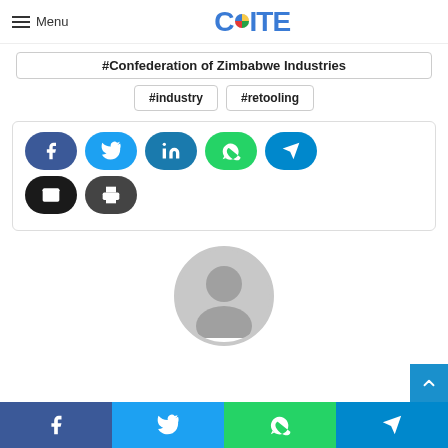Menu | CITE
#Confederation of Zimbabwe Industries
#industry
#retooling
[Figure (infographic): Social share buttons: Facebook, Twitter, LinkedIn, WhatsApp, Telegram, Email, Print]
[Figure (illustration): Generic grey user avatar silhouette]
Social share footer bar: Facebook, Twitter, WhatsApp, Telegram